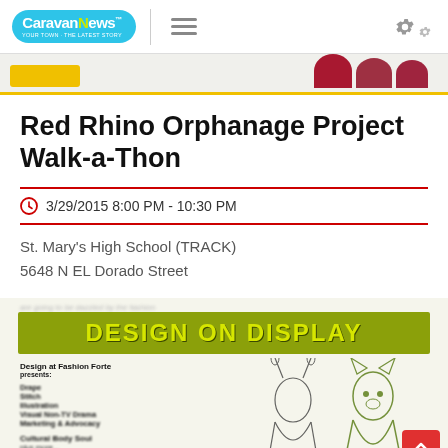CaravanNews
[Figure (screenshot): Partial top image showing a yellow button on the left and dark red circular shapes on the right, partially cropped]
Red Rhino Orphanage Project Walk-a-Thon
3/29/2015 8:00 PM - 10:30 PM
St. Mary's High School (TRACK)
5648 N EL Dorado Street
[Figure (illustration): Event flyer showing 'DESIGN ON DISPLAY' banner in yellow-green with design/fashion illustration and blurred text listing event details including Design at Fashion Forte, Fabric, Top Design, Costume & Textiles, Cultural Motion below]